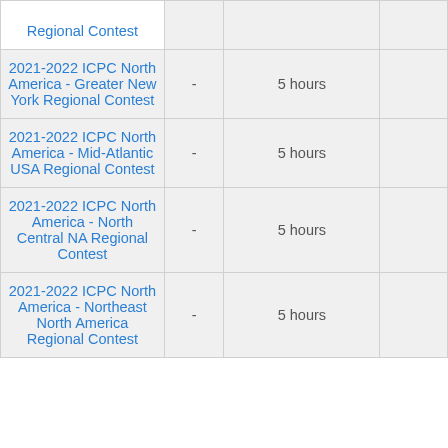| Contest |  | Duration |  |
| --- | --- | --- | --- |
| Regional Contest | - | 5 hours |  |
| 2021-2022 ICPC North America - Greater New York Regional Contest | - | 5 hours |  |
| 2021-2022 ICPC North America - Mid-Atlantic USA Regional Contest | - | 5 hours |  |
| 2021-2022 ICPC North America - North Central NA Regional Contest | - | 5 hours |  |
| 2021-2022 ICPC North America - Northeast North America Regional Contest | - | 5 hours |  |